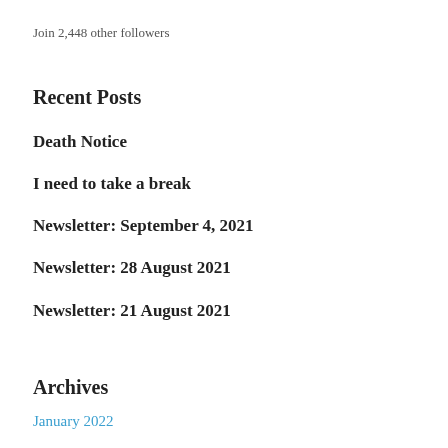Join 2,448 other followers
Recent Posts
Death Notice
I need to take a break
Newsletter: September 4, 2021
Newsletter: 28 August 2021
Newsletter: 21 August 2021
Archives
January 2022